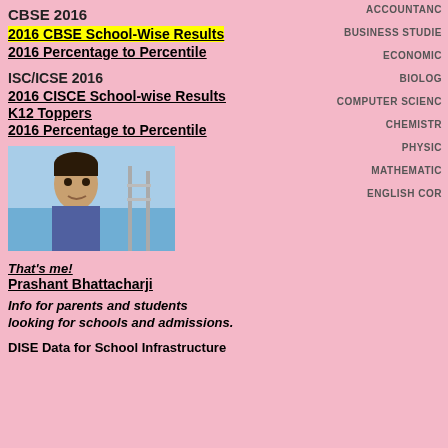CBSE 2016
2016 CBSE School-Wise Results
2016 Percentage to Percentile
ISC/ICSE 2016
2016 CISCE School-wise Results
K12 Toppers
2016 Percentage to Percentile
[Figure (photo): Photo of Prashant Bhattacharji, a man, outdoors near water with railing behind him.]
That's me!
Prashant Bhattacharji
Info for parents and students looking for schools and admissions.
DISE Data for School Infrastructure
ACCOUNTANC
BUSINESS STUDIE
ECONOMIC
BIOLOG
COMPUTER SCIENC
CHEMISTR
PHYSIC
MATHEMATIC
ENGLISH COR
| Candidates: |
| --- |
| Average
Percentage Score |
| Median
Percentage Score |
| Highest
Percentage Score |